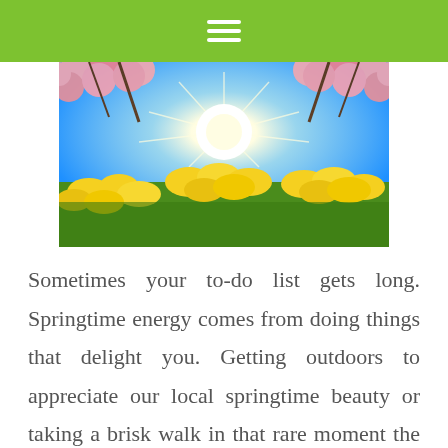[Figure (photo): Spring scene with yellow daffodils in the foreground, pink cherry blossoms in the upper corners, and a bright sun shining against a blue sky.]
Sometimes your to-do list gets long. Springtime energy comes from doing things that delight you. Getting outdoors to appreciate our local springtime beauty or taking a brisk walk in that rare moment the sun is